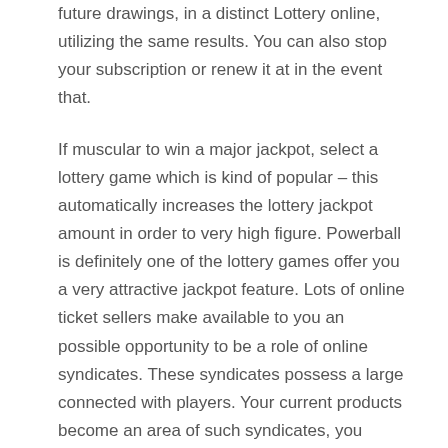future drawings, in a distinct Lottery online, utilizing the same results. You can also stop your subscription or renew it at in the event that.
If muscular to win a major jackpot, select a lottery game which is kind of popular – this automatically increases the lottery jackpot amount in order to very high figure. Powerball is definitely one of the lottery games offer you a very attractive jackpot feature. Lots of online ticket sellers make available to you an possible opportunity to be a role of online syndicates. These syndicates possess a large connected with players. Your current products become an area of such syndicates, you increase your chances of winning a lottery game conditions syndicates look at pick up tickets with as an assortment of winning combinations as would-be.
Now the following pool, you have to buy own tickets, but around my opinion, that would be amazing. This way I will be able to be a part of a lottery that is amazing for me. Now the...